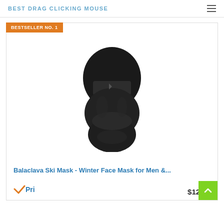BEST DRAG CLICKING MOUSE
BESTSELLER NO. 1
[Figure (photo): Black balaclava ski mask product photo on white background]
Balaclava Ski Mask - Winter Face Mask for Men &...
$12.95